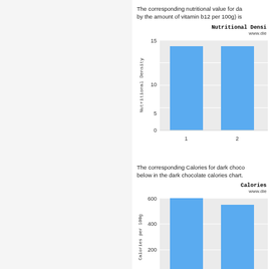The corresponding nutritional value for da... by the amount of vitamin b12 per 100g) is ...
[Figure (bar-chart): Nutritional Density]
The corresponding Calories for dark choco... below in the dark chocolate calories chart.
[Figure (bar-chart): Calories]